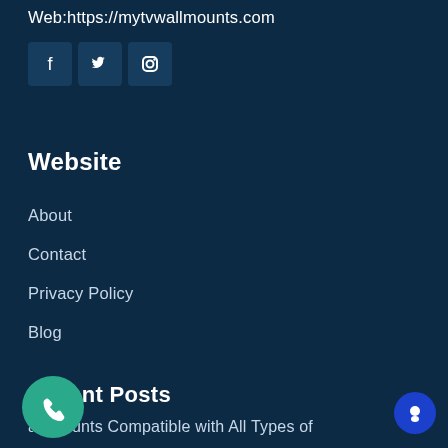Web:https://mytvwallmounts.com
[Figure (screenshot): Social media icons: Facebook, Twitter, Instagram on dark blue background]
Website
About
Contact
Privacy Policy
Blog
Recent Posts
all Mounts Compatible with All Types of Televisions
[Figure (illustration): Teal phone/call button circle in bottom left]
[Figure (illustration): Blue chat button circle in bottom right]